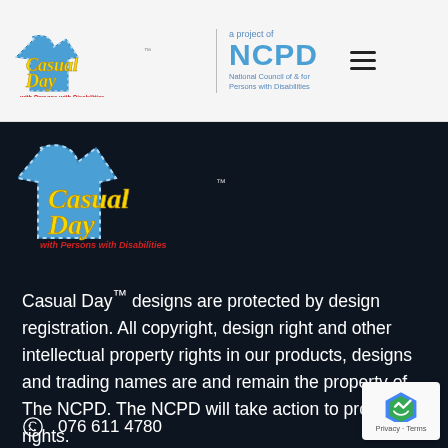[Figure (logo): Casual Day with Persons with Disabilities logo (blue t-shirt shape with yellow script text) in header, alongside NCPD (National Council of & for Persons with Disabilities) logo and hamburger menu icon]
[Figure (logo): Large Casual Day with Persons with Disabilities logo on dark background]
Casual Day™ designs are protected by design registration. All copyright, design right and other intellectual property rights in our products, designs and trading names are and remain the property of The NCPD. The NCPD will take action to protect its rights.
076 611 4780